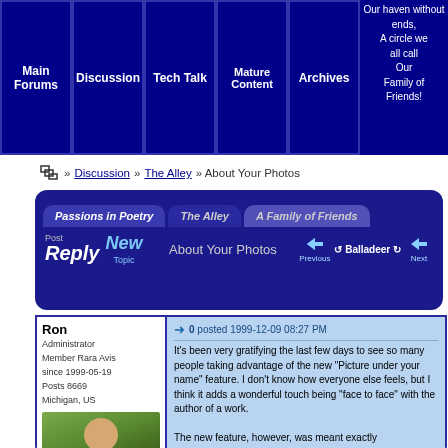Main Forums | Discussion | Tech Talk | Mature Content | Archives | Our haven without ends, A circle we all call Our Family of Friends!
» Discussion » The Alley » About Your Photos
[Figure (screenshot): Forum navigation panel with tabs: Passions in Poetry, The Alley, A Family of Friends. Action buttons: Post Reply, New Topic. Topic: About Your Photos. Navigation: Previous, Balladeer, Next.]
Ron
Administrator
Member Rara Avis
since 1999-05-19
Posts 8669
Michigan, US
0 posted 1999-12-09 08:27 PM
It's been very gratifying the last few days to see so many people taking advantage of the new "Picture under your name" feature. I don't know how everyone else feels, but I think it adds a wonderful touch being "face to face" with the author of a work.

The new feature, however, was meant exactly